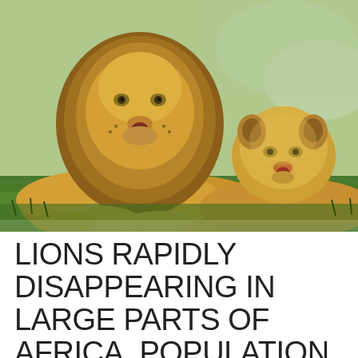[Figure (photo): Two lions resting on grass — a large male lion with a full golden mane in the foreground facing the camera, and a female lion (or younger lion) resting behind/beside him, also facing the camera. Outdoor savanna setting with green grass and a blurred background.]
LIONS RAPIDLY DISAPPEARING IN LARGE PARTS OF AFRICA, POPULATION COULD BE